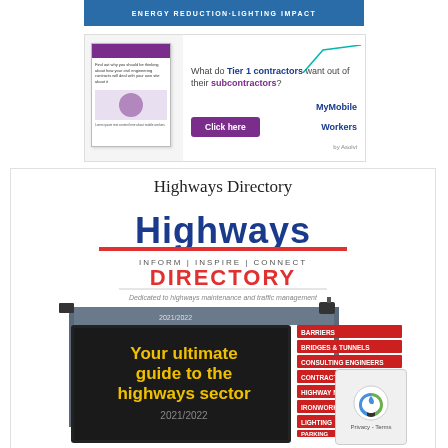[Figure (other): Blue banner with text ENERGY REDUCTION·LIGHTING IMPACT]
[Figure (other): Advertisement for MyMobileWorkers: 'What do Tier 1 contractors want out of their subcontractors? Click here']
Highways Directory
[Figure (other): Highways Directory cover image showing the Highways magazine logo with INFORM | INSPIRE | CONNECT DIRECTORY tagline, 2021/2022, dedicated to highways maintenance and traffic management, with a display board saying 'Your ultimate guide to the highways sector' and category tabs on the right (BARRIERS, BRIDGES & TUNNELS, CONSULTING ENGINEERS, CONTRACTORS, HIGHWAY MAINTENANCE, IRONWORK & DRAINAGE, LIGHTING, PARKING, ROAD MARKINGS)]